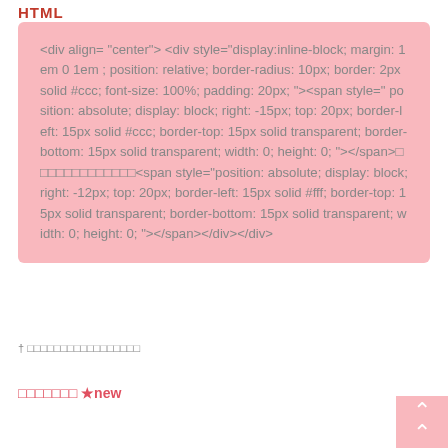HTML
<div align="center"> <div style="display:inline-block; margin: 1em 0 1em ; position: relative; border-radius: 10px; border: 2px solid #ccc; font-size: 100%; padding: 20px; "><span style=" position: absolute; display: block; right: -15px; top: 20px; border-left: 15px solid #ccc; border-top: 15px solid transparent; border-bottom: 15px solid transparent; width: 0; height: 0; "></span>□□□□□□□□□□□□□<span style="position: absolute; display: block; right: -12px; top: 20px; border-left: 15px solid #fff; border-top: 15px solid transparent; border-bottom: 15px solid transparent; width: 0; height: 0; "></span></div></div>
† □□□□□□□□□□□□□□□□
□□□□□□□ ★new